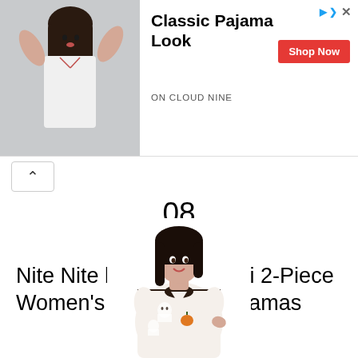[Figure (photo): Advertisement banner showing a woman in white pajamas with text 'Classic Pajama Look' and 'ON CLOUD NINE' and a red 'Shop Now' button]
08
Out of 12
Nite Nite by Munki Munki 2-Piece Women's Halloween Pajamas
[Figure (photo): Woman wearing Halloween-themed pajamas with ghost and pumpkin print pattern]